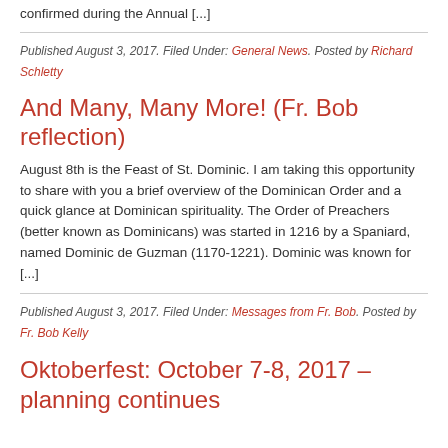confirmed during the Annual [...]
Published August 3, 2017. Filed Under: General News. Posted by Richard Schletty
And Many, Many More! (Fr. Bob reflection)
August 8th is the Feast of St. Dominic.  I am taking this opportunity to share with you a brief overview of the Dominican Order and a quick glance at Dominican spirituality. The Order of Preachers (better known as Dominicans) was started in 1216 by a Spaniard, named Dominic de Guzman (1170-1221). Dominic was known for [...]
Published August 3, 2017. Filed Under: Messages from Fr. Bob. Posted by Fr. Bob Kelly
Oktoberfest: October 7-8, 2017 – planning continues